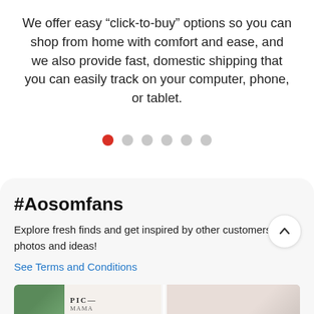We offer easy “click-to-buy” options so you can shop from home with comfort and ease, and we also provide fast, domestic shipping that you can easily track on your computer, phone, or tablet.
[Figure (other): Carousel pagination dots: one red active dot followed by five grey inactive dots]
#Aosomfans
Explore fresh finds and get inspired by other customers' photos and ideas!
See Terms and Conditions
[Figure (photo): Two thumbnail photos side by side at the bottom: left shows a green plant image next to a framed poster with text and arrow; right shows hands working on fabric with a video play indicator.]